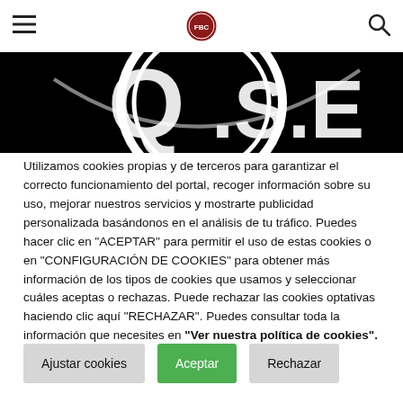Navigation header with hamburger menu, logo, and search icon
[Figure (photo): Black background with partial white circular logo/emblem showing letters Q.S.E in a stylized design]
Utilizamos cookies propias y de terceros para garantizar el correcto funcionamiento del portal, recoger información sobre su uso, mejorar nuestros servicios y mostrarte publicidad personalizada basándonos en el análisis de tu tráfico. Puedes hacer clic en “ACEPTAR” para permitir el uso de estas cookies o en “CONFIGURACIÓN DE COOKIES” para obtener más información de los tipos de cookies que usamos y seleccionar cuáles aceptas o rechazas. Puede rechazar las cookies optativas haciendo clic aquí “RECHAZAR”. Puedes consultar toda la información que necesites en “Ver nuestra política de cookies”.
Ajustar cookies
Aceptar
Rechazar